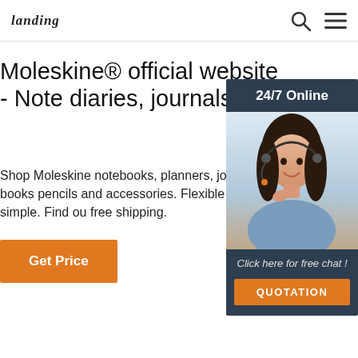landing | Search | Menu
Moleskine® official website - Note diaries, journals ...
Shop Moleskine notebooks, planners, journals, books pencils and accessories. Flexible and simple. Find ou free shipping.
Get Price
[Figure (infographic): Customer support sidebar with '24/7 Online' header, photo of smiling woman with headset, 'Click here for free chat!' text, and orange QUOTATION button]